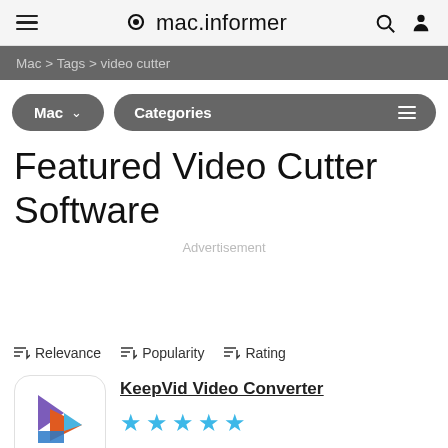mac.informer
Mac > Tags > video cutter
Mac ∨   Categories ≡
Featured Video Cutter Software
Advertisement
≡↓ Relevance   ≡↓ Popularity   ≡↓ Rating
KeepVid Video Converter
[Figure (other): KeepVid Video Converter app icon with colorful play button arrow]